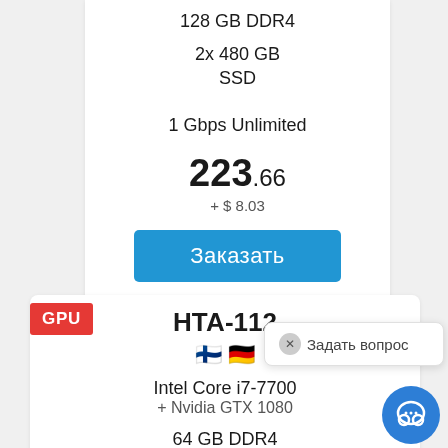128 GB DDR4
2x 480 GB SSD
1 Gbps Unlimited
223.66
+ $ 8.03
Заказать
GPU
НТА-112
[Figure (other): Finnish and German flag emoji icons]
Intel Core i7-7700
+ Nvidia GTX 1080
64 GB DDR4
2x 500 GB SSD
Задать вопрос